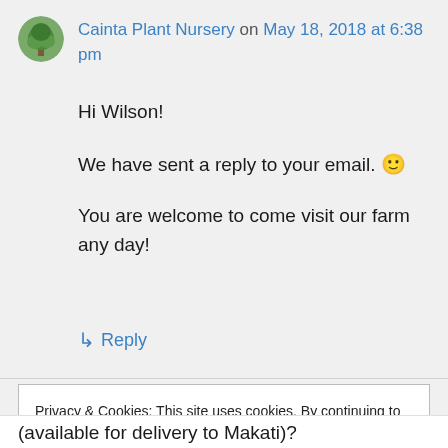Cainta Plant Nursery on May 18, 2018 at 6:38 pm
Hi Wilson!

We have sent a reply to your email. 🙂

You are welcome to come visit our farm any day!
↳ Reply
Privacy & Cookies: This site uses cookies. By continuing to use this website, you agree to their use.
To find out more, including how to control cookies, see here: Cookie Policy
Close and accept
(available for delivery to Makati)?